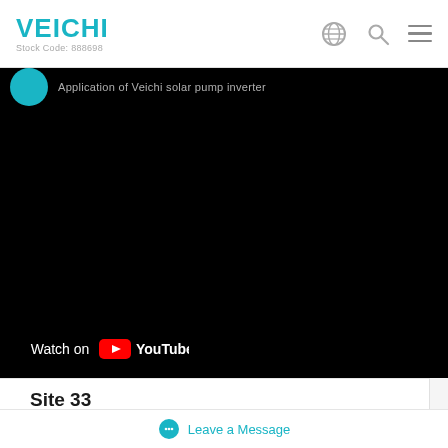VEICHI Stock Code: 888698
[Figure (screenshot): Embedded YouTube video player showing a dark/black video frame. At the top left is a teal circle icon and partial text title. At the bottom left is a 'Watch on YouTube' badge with YouTube logo on dark background.]
Site 33
Location: Egypt
Leave a Message